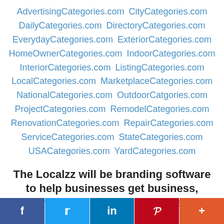AdvertisingCategories.com  CityCategories.com  DailyCategories.com  DirectoryCategories.com  EverydayCategories.com  ExteriorCategories.com  HomeOwnerCategories.com  IndoorCategories.com  InteriorCategories.com  ListingCategories.com  LocalCategories.com  MarketplaceCategories.com  NationalCategories.com  OutdoorCatgories.com  ProjectCategories.com  RemodelCategories.com  RenovationCategories.com  RepairCategories.com  ServiceCategories.com  StateCategories.com  USACategories.com  YardCategories.com
The Localzz will be branding software to help businesses get business, organize, and manage customers or clients
BusinessesAutomated.com  BusinessesCentralized.com  BusinessesContacted.com  BusinessesCredited.com
f  t  in  P  +